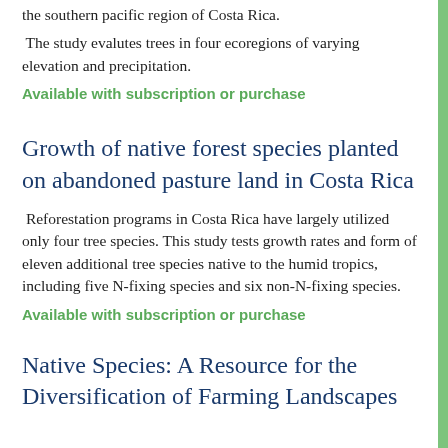the southern pacific region of Costa Rica.
The study evalutes trees in four ecoregions of varying elevation and precipitation.
Available with subscription or purchase
Growth of native forest species planted on abandoned pasture land in Costa Rica
Reforestation programs in Costa Rica have largely utilized only four tree species. This study tests growth rates and form of eleven additional tree species native to the humid tropics, including five N-fixing species and six non-N-fixing species.
Available with subscription or purchase
Native Species: A Resource for the Diversification of Farming Landscapes